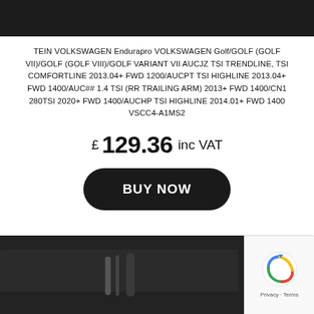[Figure (photo): Top portion of a product photo showing a dark background with automotive parts]
TEIN VOLKSWAGEN Endurapro VOLKSWAGEN Golf/GOLF (GOLF VII)/GOLF (GOLF VIII)/GOLF VARIANT VII AUCJZ TSI TRENDLINE, TSI COMFORTLINE 2013.04+ FWD 1200/AUCPT TSI HIGHLINE 2013.04+ FWD 1400/AUC## 1.4 TSI (RR TRAILING ARM) 2013+ FWD 1400/CN1 280TSI 2020+ FWD 1400/AUCHP TSI HIGHLINE 2014.01+ FWD 1400 VSCC4-A1MS2
£ 129.36 inc VAT
BUY NOW
[Figure (photo): Bottom portion of a product photo showing automotive shock absorber components on dark background with a navigation arrow visible]